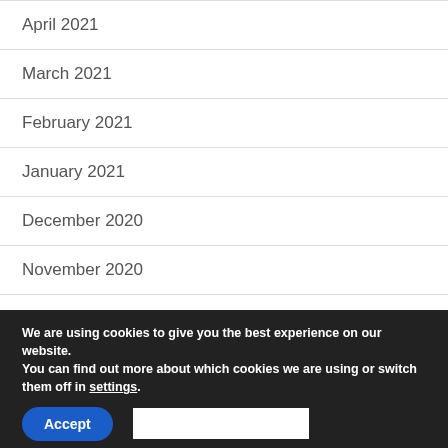April 2021
March 2021
February 2021
January 2021
December 2020
November 2020
October 2020
We are using cookies to give you the best experience on our website.
You can find out more about which cookies we are using or switch them off in settings.
Accept
Privacy & Cookies Policy